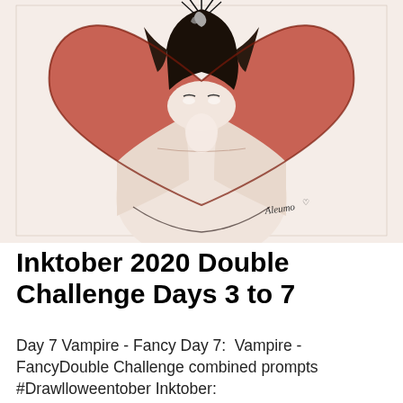[Figure (illustration): A watercolor and ink illustration of a vampire figure (partial view — head with dramatic hair and shoulders) set against a large red/coral heart shape on a cream/off-white paper background. The figure has pale skin, dark flowing hair, and the composition is cropped. There is a handwritten signature at the bottom right of the illustration.]
Inktober 2020 Double Challenge Days 3 to 7
Day 7 Vampire - Fancy Day 7:  Vampire - FancyDouble Challenge combined prompts #Drawlloweentober Inktober: FancyMabsDrawlloweenClub:  Vampire This is my latest drawing on Day 7 and the challenge is to draw it